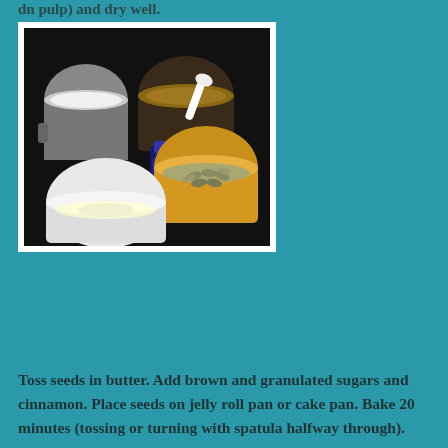dn pulp) and dry well.
[Figure (photo): Kitchen counter with baking ingredients: metal pot with white sugar, dark bowl with brown sugar and white spoon, yellow bowl with seeds, bottle of ground cinnamon, and small white bowl with egg white/butter mixture]
Toss seeds in butter. Add brown and granulated sugars and cinnamon. Place seeds on jelly roll pan or cake pan. Bake 20 minutes (tossing or turning with spatula halfway through).